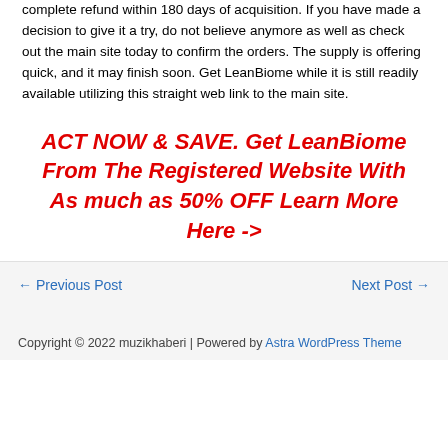complete refund within 180 days of acquisition. If you have made a decision to give it a try, do not believe anymore as well as check out the main site today to confirm the orders. The supply is offering quick, and it may finish soon. Get LeanBiome while it is still readily available utilizing this straight web link to the main site.
ACT NOW & SAVE. Get LeanBiome From The Registered Website With As much as 50% OFF Learn More Here ->
← Previous Post
Next Post →
Copyright © 2022 muzikhaberi | Powered by Astra WordPress Theme